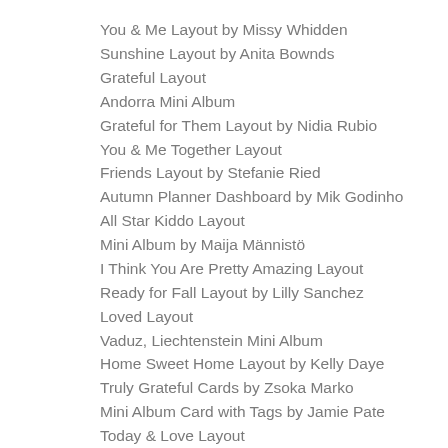You & Me Layout by Missy Whidden
Sunshine Layout by Anita Bownds
Grateful Layout
Andorra Mini Album
Grateful for Them Layout by Nidia Rubio
You & Me Together Layout
Friends Layout by Stefanie Ried
Autumn Planner Dashboard by Mik Godinho
All Star Kiddo Layout
Mini Album by Maija Männistö
I Think You Are Pretty Amazing Layout
Ready for Fall Layout by Lilly Sanchez
Loved Layout
Vaduz, Liechtenstein Mini Album
Home Sweet Home Layout by Kelly Daye
Truly Grateful Cards by Zsoka Marko
Mini Album Card with Tags by Jamie Pate
Today & Love Layout